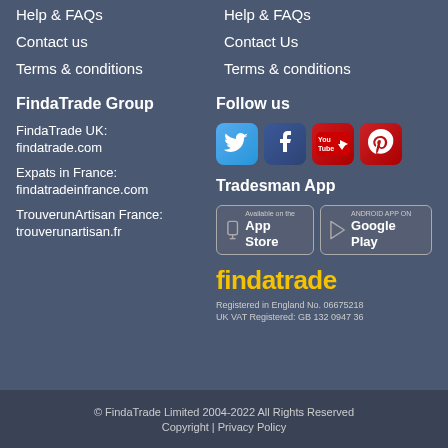Help & FAQs
Help & FAQs
Contact us
Contact Us
Terms & conditions
Terms & conditions
FindaTrade Group
FindaTrade UK:
findatrade.com
Expats in France:
findatradeinfrance.com
TrouverunArtisan France:
trouverunartisan.fr
Follow us
[Figure (illustration): Social media icons: Twitter, Facebook, YouTube, Pinterest]
Tradesman App
[Figure (illustration): App Store and Google Play download buttons]
[Figure (logo): findatrade logo in yellow text]
Registered in England No. 06675218
UK VAT Registered: GB 132 0947 36
© FindaTrade Limited 2004-2022 All Rights Reserved
Copyright | Privacy Policy